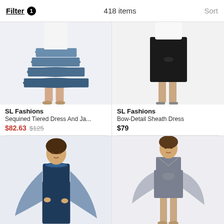Filter 1   418 items   Sort
[Figure (photo): Model wearing a blue tiered chiffon dress, cropped showing lower body]
SL Fashions
Sequined Tiered Dress And Ja...
$82.63  $125
Get a Sale Alert
[Figure (photo): Model wearing a black bow-detail sheath dress, cropped showing lower body]
SL Fashions
Bow-Detail Sheath Dress
$79
Get a Sale Alert
[Figure (photo): Woman wearing a navy blue long dress with sheer cape overlay, jewelry neckline]
[Figure (photo): Woman wearing a grey knee-length dress with flowing sheer cape sleeves]